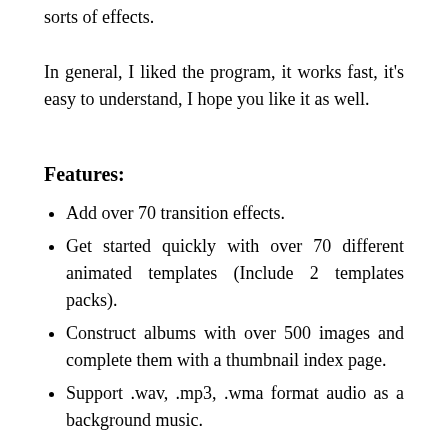sorts of effects.
In general, I liked the program, it works fast, it's easy to understand, I hope you like it as well.
Features:
Add over 70 transition effects.
Get started quickly with over 70 different animated templates (Include 2 templates packs).
Construct albums with over 500 images and complete them with a thumbnail index page.
Support .wav, .mp3, .wma format audio as a background music.